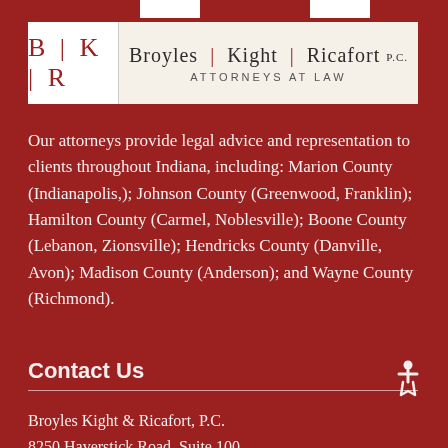[Figure (logo): BKR logo with text: B | K | R and Broyles | Kight | Ricafort P.C. ATTORNEYS AT LAW]
Our attorneys provide legal advice and representation to clients throughout Indiana, including: Marion County (Indianapolis,); Johnson County (Greenwood, Franklin); Hamilton County (Carmel, Noblesville); Boone County (Lebanon, Zionsville); Hendricks County (Danville, Avon); Madison County (Anderson); and Wayne County (Richmond).
Contact Us
Broyles Kight & Ricafort, P.C.
8250 Haverstick Road, Suite 100